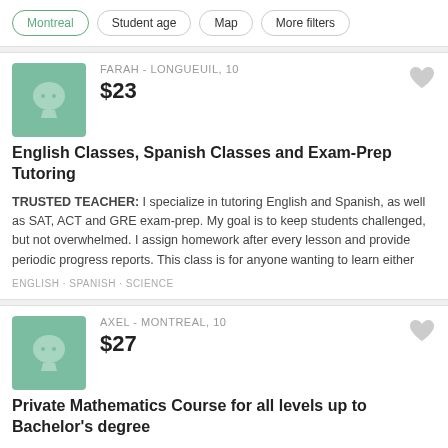Montreal · Student age · Map · More filters
FARAH - LONGUEUIL, 10 | $23
English Classes, Spanish Classes and Exam-Prep Tutoring
TRUSTED TEACHER: I specialize in tutoring English and Spanish, as well as SAT, ACT and GRE exam-prep. My goal is to keep students challenged, but not overwhelmed. I assign homework after every lesson and provide periodic progress reports. This class is for anyone wanting to learn either
ENGLISH · SPANISH · SCIENCE
AXEL - MONTREAL, 10 | $27
Private Mathematics Course for all levels up to Bachelor's degree